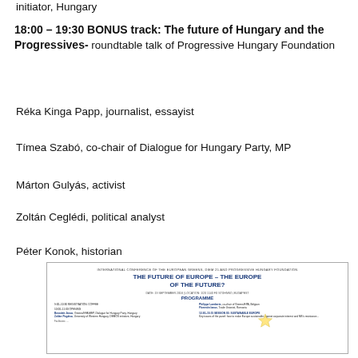initiator, Hungary
18:00 – 19:30 BONUS track: The future of Hungary and the Progressives- roundtable talk of Progressive Hungary Foundation
Réka Kinga Papp, journalist, essayist
Tímea Szabó, co-chair of Dialogue for Hungary Party, MP
Márton Gulyás, activist
Zoltán Ceglédi, political analyst
Péter Konok, historian
[Figure (screenshot): Conference programme document: 'THE FUTURE OF EUROPE – THE EUROPE OF THE FUTURE? PROGRAMME' - International Conference of the European Greens, DIEM 25 and Progressive Hungary Foundation, Date: 19 September 2018, Location: Budapest]